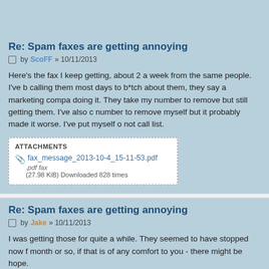Re: Spam faxes are getting annoying
by ScoFF » 10/11/2013
Here's the fax I keep getting, about 2 a week from the same people. I've been calling them most days to b*tch about them, they say a marketing company is doing it. They take my number to remove but still getting them. I've also called the number to remove myself but it probably made it worse. I've put myself on the do not call list.
| ATTACHMENTS |
| --- |
| fax_message_2013-10-4_15-11-53.pdf | .pdf fax | (27.98 KiB) Downloaded 828 times |
Re: Spam faxes are getting annoying
by Jake » 10/11/2013
I was getting those for quite a while. They seemed to have stopped now for a month or so, if that is of any comfort to you - there might be hope.